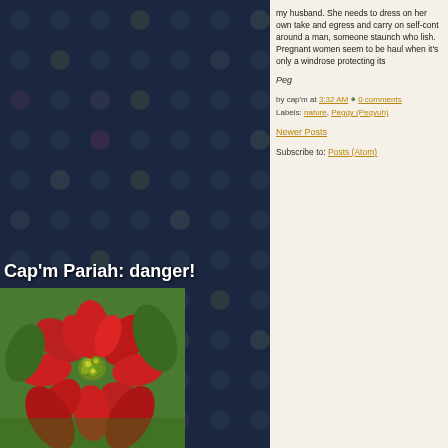my husband. She needs to dress on her own take and egress and carry on self-cont around a man, someone staunch who lish. Pregnant women seem to be haul when it's only a windrose protecting its
Peg
by cap'm at 3:32 AM 0 comments Labels: nature, Peggy (Pegyuh)
Newer Posts
Subscribe to: Posts (Atom)
Cap'm Pariah: danger!
[Figure (photo): A red poinsettia flower with yellow-green center buds, photographed on green grass background]